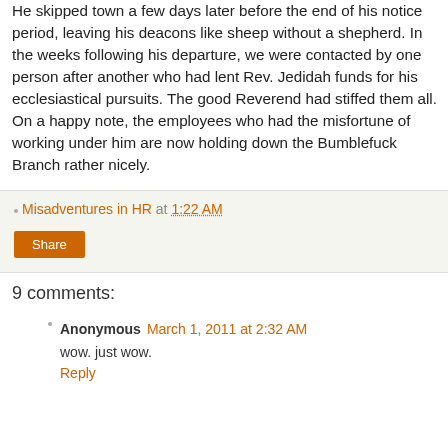He skipped town a few days later before the end of his notice period, leaving his deacons like sheep without a shepherd. In the weeks following his departure, we were contacted by one person after another who had lent Rev. Jedidah funds for his ecclesiastical pursuits. The good Reverend had stiffed them all. On a happy note, the employees who had the misfortune of working under him are now holding down the Bumblefuck Branch rather nicely.
Misadventures in HR at 1:22 AM
Share
9 comments:
Anonymous March 1, 2011 at 2:32 AM
wow. just wow.
Reply